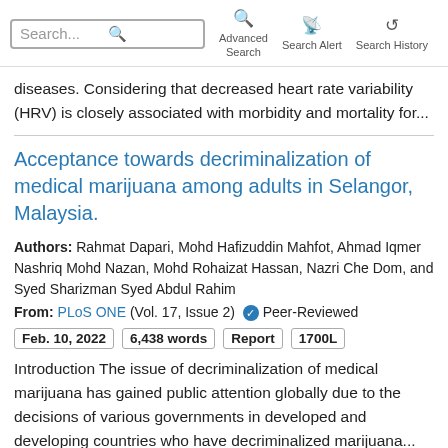Search... Advanced Search Search Alert Search History
diseases. Considering that decreased heart rate variability (HRV) is closely associated with morbidity and mortality for...
Acceptance towards decriminalization of medical marijuana among adults in Selangor, Malaysia.
Authors: Rahmat Dapari, Mohd Hafizuddin Mahfot, Ahmad Iqmer Nashriq Mohd Nazan, Mohd Rohaizat Hassan, Nazri Che Dom, and Syed Sharizman Syed Abdul Rahim
From: PLoS ONE (Vol. 17, Issue 2) ✓ Peer-Reviewed
Feb. 10, 2022   6,438 words   Report   1700L
Introduction The issue of decriminalization of medical marijuana has gained public attention globally due to the decisions of various governments in developed and developing countries who have decriminalized marijuana...